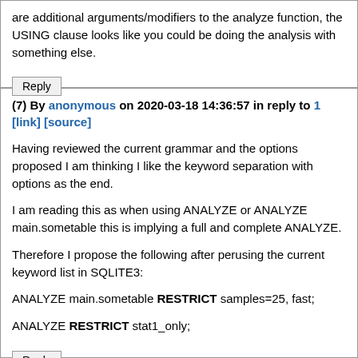are additional arguments/modifiers to the analyze function, the USING clause looks like you could be doing the analysis with something else.
Reply
(7) By anonymous on 2020-03-18 14:36:57 in reply to 1 [link] [source]
Having reviewed the current grammar and the options proposed I am thinking I like the keyword separation with options as the end.
I am reading this as when using ANALYZE or ANALYZE main.sometable this is implying a full and complete ANALYZE.
Therefore I propose the following after perusing the current keyword list in SQLITE3:
ANALYZE main.sometable RESTRICT samples=25, fast;
ANALYZE RESTRICT stat1_only;
Reply